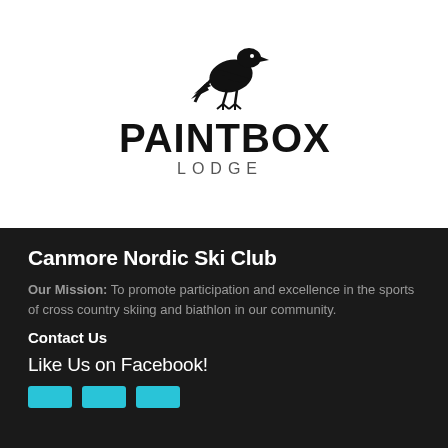[Figure (logo): Paintbox Lodge logo: a black crow/raven perched above the text 'PAINTBOX' in large bold letters and 'LODGE' in smaller spaced letters below]
Canmore Nordic Ski Club
Our Mission: To promote participation and excellence in the sports of cross country skiing and biathlon in our community.
Contact Us
Like Us on Facebook!
[Figure (other): Three small teal/cyan social media icon buttons at the bottom]